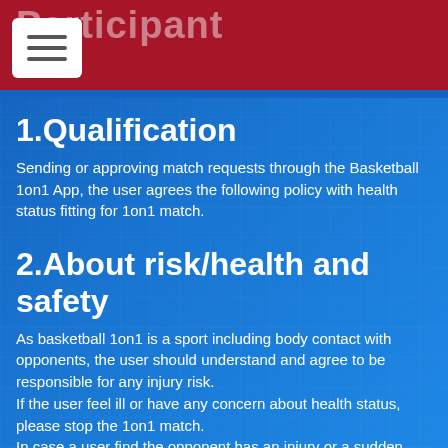Participant
1.Qualification
Sending or approving match requests through the Basketball 1on1 App, the user agrees the following policy with health status fitting for 1on1 match.
2.About risk/health and safety
As basketball 1on1 is a sport including body contact with opponents, the user should understand and agree to be responsible for any injury risk.
If the user feel ill or have any concern about health status, please stop the 1on1 match.
In case a user find the opponent has an injury or a sudden change in health, please take appropriate action including emergency treatment and calling an ambulance.
Users also must take responsibility in managing valuables during